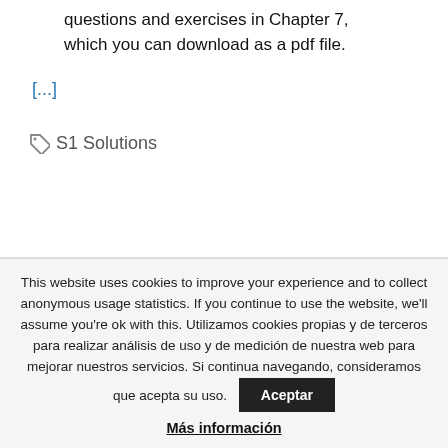questions and exercises in Chapter 7, which you can download as a pdf file.
[...]
S1 Solutions
This website uses cookies to improve your experience and to collect anonymous usage statistics. If you continue to use the website, we'll assume you're ok with this. Utilizamos cookies propias y de terceros para realizar análisis de uso y de medición de nuestra web para mejorar nuestros servicios. Si continua navegando, consideramos que acepta su uso. Aceptar Más información